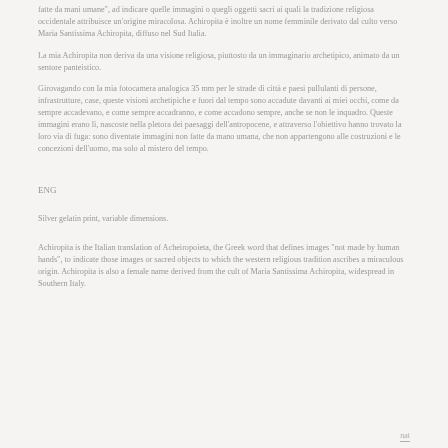fatte da mani umane", ad indicare quelle immagini o quegli oggetti sacri ai quali la tradizione religiosa occidentale attribuisce un'origine miracolosa. Achiropita è inoltre un nome femminile derivato dal culto verso Maria Santissima Achiropita, diffuso nel Sud Italia.
La mia Achiropita non deriva da una visione religiosa, piuttosto da un immaginario archetipico, animato da un sentore panteistico.
Girovagando con la mia fotocamera analogica 35 mm per le strade di città e paesi pullulanti di persone, infrastrutture, case, queste visioni archetipiche e fuori dal tempo sono accadute davanti ai miei occhi, come da sempre accadevano, e come sempre accadranno, e come accadono sempre, anche se non le inquadro. Queste immagini erano lì, nascoste nella pletora dei paesaggi dell'antropocene, e attraverso l'obiettivo hanno trovato la loro via di fuga: sono diventate immagini non fatte da mano umana, che non appartengono alle costruzioni e le concezioni dell'uomo, ma solo al mistero del tempo.
ENG
Silver gelatin print, variable dimensions.
Achiropita is the Italian translation of Acheiropoieta, the Greek word that defines images "not made by human hands", to indicate those images or sacred objects to which the western religious tradition ascribes a miraculous origin. Achiropita is also a female name derived from the cult of Maria Santissima Achiropita, widespread in Southern Italy.
nat